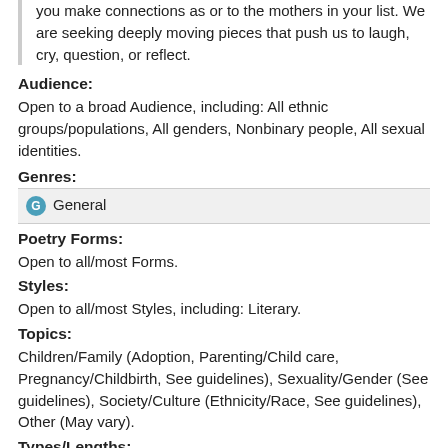you make connections as or to the mothers in your list. We are seeking deeply moving pieces that push us to laugh, cry, question, or reflect.
Audience:
Open to a broad Audience, including: All ethnic groups/populations, All genders, Nonbinary people, All sexual identities.
Genres:
| G | General |
Poetry Forms:
Open to all/most Forms.
Styles:
Open to all/most Styles, including: Literary.
Topics:
Children/Family (Adoption, Parenting/Child care, Pregnancy/Childbirth, See guidelines), Sexuality/Gender (See guidelines), Society/Culture (Ethnicity/Race, See guidelines), Other (May vary).
Types/Lengths:
| TYPE | LENGTH DETAILS |
| --- | --- |